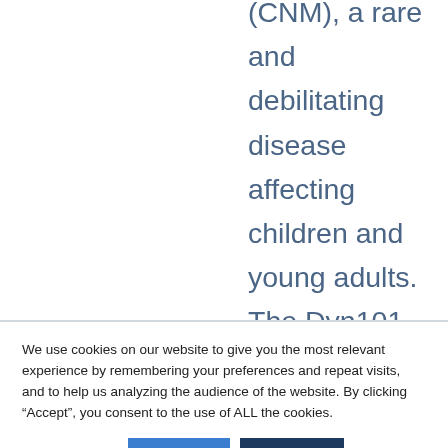(CNM), a rare and debilitating disease affecting children and young adults. The Dyn101 development program targets the Dynamin 2 protein using a cEt antisense oligonucleotide candidate developed in collaboration with Ionis Pharmaceuticals.
We use cookies on our website to give you the most relevant experience by remembering your preferences and repeat visits, and to help us analyzing the audience of the website. By clicking “Accept”, you consent to the use of ALL the cookies.
Cookie settings | REJECT | ACCEPT